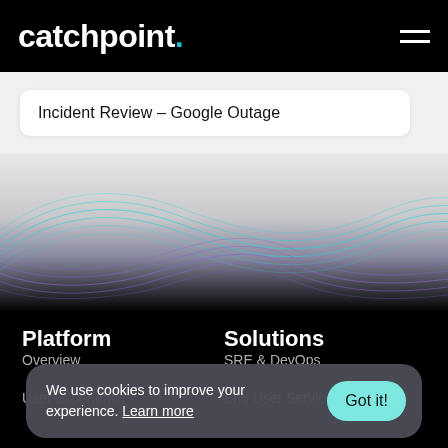catchpoint.
Incident Review – Google Outage
[Figure (illustration): Decorative wave graphic with teal and purple flowing lines on a light-to-dark gradient background]
Platform
Solutions
Overview
SRE & DevOps
User Experience
End User Services
We use cookies to improve your experience. Learn more
Got it!